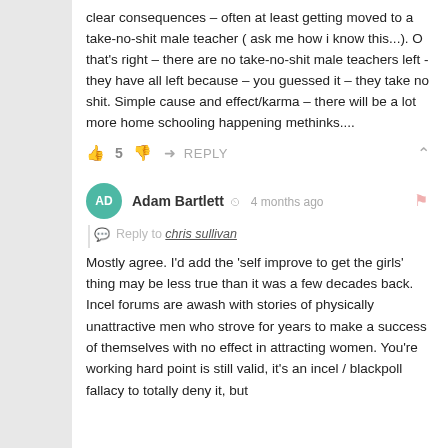clear consequences – often at least getting moved to a take-no-shit male teacher ( ask me how i know this...). O that's right – there are no take-no-shit male teachers left -they have all left because – you guessed it – they take no shit. Simple cause and effect/karma – there will be a lot more home schooling happening methinks....
👍 5 👎 ➜ REPLY ∧
Adam Bartlett · 4 months ago
Reply to chris sullivan
Mostly agree. I'd add the 'self improve to get the girls' thing may be less true than it was a few decades back. Incel forums are awash with stories of physically unattractive men who strove for years to make a success of themselves with no effect in attracting women. You're working hard point is still valid, it's an incel / blackpoll fallacy to totally deny it, but